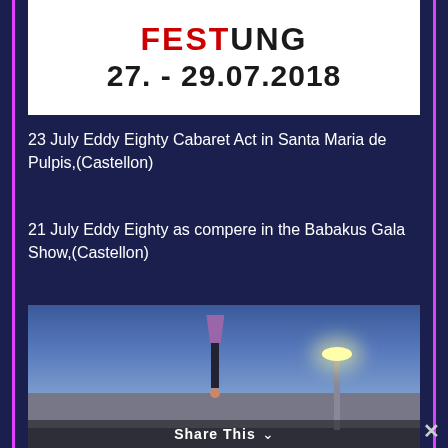[Figure (illustration): Festival banner showing 'FESTUNG' text in bold with date 27. - 29.07.2018 on white background]
23 July Eddy Eighty Cabaret Act in Santa Maria de Pulpis,(Castellon)
21 July Eddy Eighty as compere in the Babakus Gala Show,(Castellon)
[Figure (photo): Outdoor nighttime photo of a performer doing a handstand on a pole in front of a building, with a street lamp lit up on the right side. A 'Share This' bar appears at the bottom of the image.]